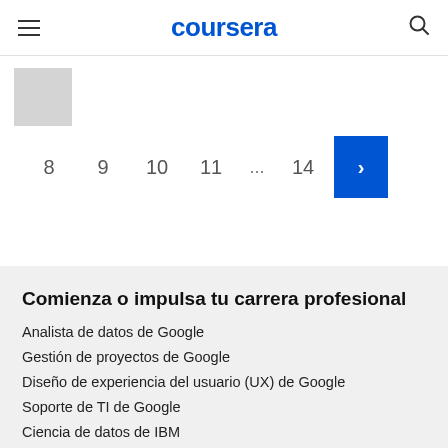coursera
[Figure (screenshot): Partial gray thumbnail card visible at top-left of pagination area]
8  9  10  11  ...  14  >
Comienza o impulsa tu carrera profesional
Analista de datos de Google
Gestión de proyectos de Google
Diseño de experiencia del usuario (UX) de Google
Soporte de TI de Google
Ciencia de datos de IBM